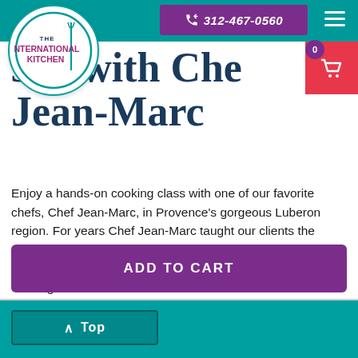The International Kitchen — 312-467-0560
son with Chef Jean-Marc
Enjoy a hands-on cooking class with one of our favorite chefs, Chef Jean-Marc, in Provence's gorgeous Luberon region. For years Chef Jean-Marc taught our clients the delights of French cuisine in Lyon. Now, having moved to sunny Provence, he and his lovely wife have opened a new cooking atelier in their home about 25 minutes outside of Avignon. Jean-Marc's long list of
ADD TO CART
↑ Top